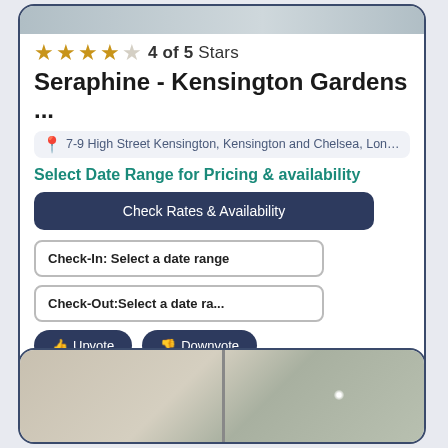[Figure (photo): Top image strip of hotel/property photo]
4 of 5 Stars
Seraphine - Kensington Gardens ...
7-9 High Street Kensington, Kensington and Chelsea, London, W8...
Select Date Range for Pricing & availability
Check Rates & Availability
Check-In: Select a date range
Check-Out:Select a date ra...
Upvote
Downvote
2.70 Miles away from London center
[Figure (photo): Bottom card showing interior room photo split into two panels]